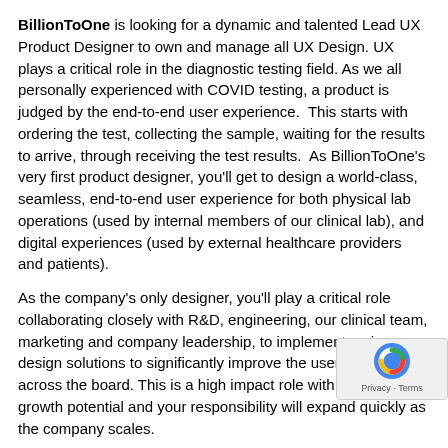BillionToOne is looking for a dynamic and talented Lead UX Product Designer to own and manage all UX Design. UX plays a critical role in the diagnostic testing field. As we all personally experienced with COVID testing, a product is judged by the end-to-end user experience. This starts with ordering the test, collecting the sample, waiting for the results to arrive, through receiving the test results. As BillionToOne's very first product designer, you'll get to design a world-class, seamless, end-to-end user experience for both physical lab operations (used by internal members of our clinical lab), and digital experiences (used by external healthcare providers and patients).
As the company's only designer, you'll play a critical role collaborating closely with R&D, engineering, our clinical team, marketing and company leadership, to implement various design solutions to significantly improve the user experience across the board. This is a high impact role with tremendous growth potential and your responsibility will expand quickly as the company scales.
Key Responsibilities:
As a UX Product Design Lead, you will be responsible for unique, clean and delightful experiences for all stakeholders.
Deeply understand user behaviors (external customers and users) every step of the way, and solve pain points for them.